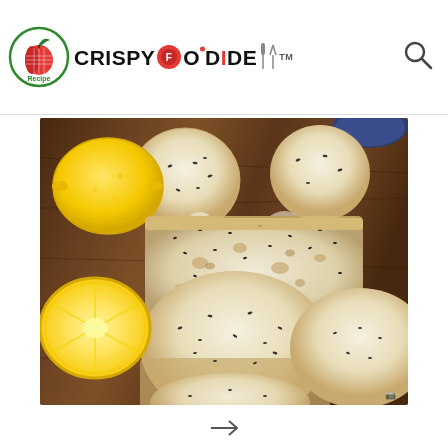CRISPYFOODIDEA (logo with TM mark and search icon)
[Figure (photo): Stack of lemon poppy seed muffins on a wooden board with fresh lemons, one muffin split open showing the moist interior with poppy seeds]
Navigation arrow